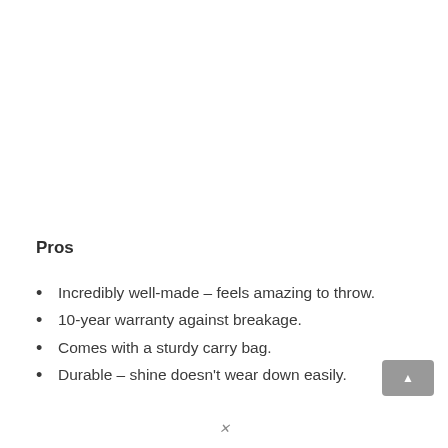Pros
Incredibly well-made – feels amazing to throw.
10-year warranty against breakage.
Comes with a sturdy carry bag.
Durable – shine doesn't wear down easily.